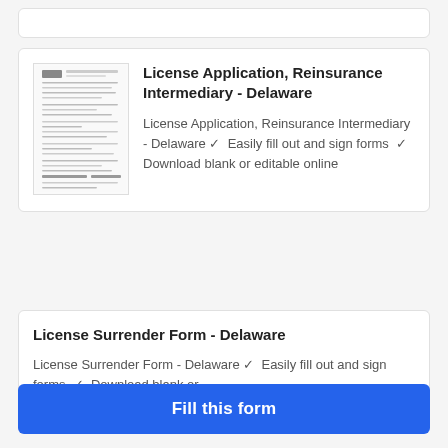[Figure (screenshot): Thumbnail preview of a Delaware license application form document]
License Application, Reinsurance Intermediary - Delaware
License Application, Reinsurance Intermediary - Delaware ✓ Easily fill out and sign forms ✓ Download blank or editable online
License Surrender Form - Delaware
License Surrender Form - Delaware ✓ Easily fill out and sign forms ✓ Download blank or
Fill this form